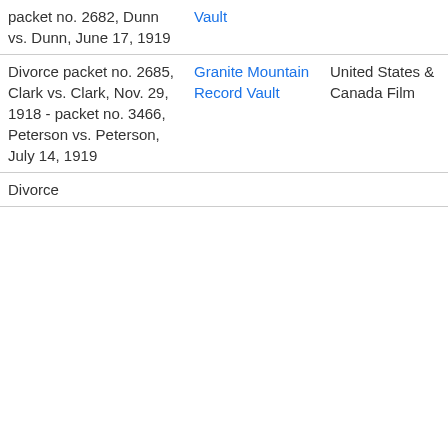| packet no. 2682, Dunn vs. Dunn, June 17, 1919 | Vault |  |  |  |  |
| Divorce packet no. 2685, Clark vs. Clark, Nov. 29, 1918 - packet no. 3466, Peterson vs. Peterson, July 14, 1919 | Granite Mountain Record Vault | United States & Canada Film | 2444018 | 8517167 |  |
| Divorce |  |  |  |  |  |